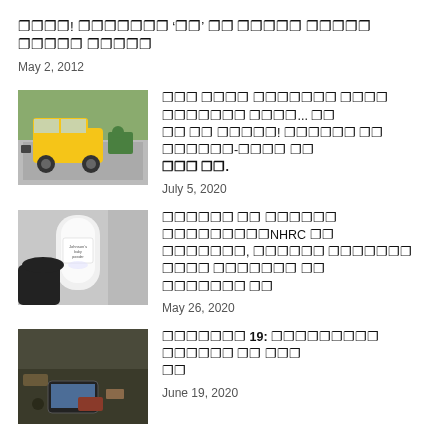🀲🀷🀷🀷! 🀲🀷🀷🀷🀷🀷 '🀲🀷' 🀲🀷 🀲🀷🀷🀷🀷 🀲🀷🀷🀷🀷 🀲🀷🀷🀷🀷 🀲🀷🀷🀷🀷
May 2, 2012
[Figure (photo): Auto-rickshaw on a road with trees in background]
🀲🀷🀷 🀲🀷🀷🀷 🀲🀷🀷🀷🀷🀷🀷 🀲🀷🀷🀷 🀲🀷🀷🀷🀷🀷🀷 🀲🀷🀷🀷...  🀲🀷 🀲🀷 🀲🀷 🀲🀷🀷🀷🀷! 🀲🀷🀷🀷🀷 🀲🀷 🀲🀷🀷🀷🀷🀷-🀲🀷🀷🀷 🀲🀷 🀲🀷🀷🀷 🀲🀷.
July 5, 2020
[Figure (photo): Johnson's baby powder bottle with dark background]
🀲🀷🀷🀷🀷🀷 🀲🀷 🀲🀷🀷🀷🀷🀷 🀲🀷🀷🀷🀷🀷🀷🀷🀷🀷NHRC 🀲🀷 🀲🀷🀷🀷🀷🀷🀷, 🀲🀷🀷🀷🀷 🀲🀷🀷🀷🀷🀷🀷 🀲🀷🀷🀷 🀲🀷🀷🀷🀷🀷🀷 🀲🀷 🀲🀷🀷🀷🀷🀷🀷🀷 🀲🀷
May 26, 2020
[Figure (photo): Items on the ground including what appears to be a smartphone]
🀲🀷🀷🀷🀷🀷🀷 19: 🀲🀷🀷🀷🀷🀷🀷🀷🀷 🀲🀷🀷🀷🀷🀷 🀲🀷 🀲🀷🀷 🀲🀷
June 19, 2020